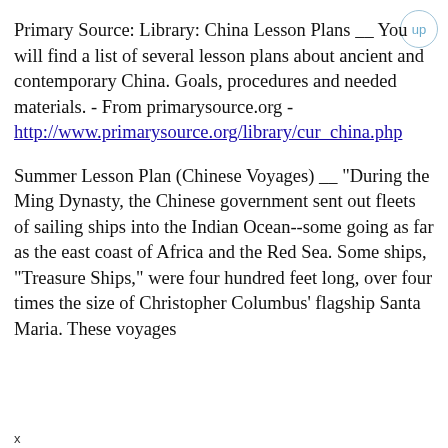Primary Source: Library: China Lesson Plans __ You will find a list of several lesson plans about ancient and contemporary China. Goals, procedures and needed materials. - From primarysource.org - http://www.primarysource.org/library/cur_china.php
Summer Lesson Plan (Chinese Voyages) __ "During the Ming Dynasty, the Chinese government sent out fleets of sailing ships into the Indian Ocean--some going as far as the east coast of Africa and the Red Sea. Some ships, "Treasure Ships," were four hundred feet long, over four times the size of Christopher Columbus' flagship Santa Maria. These voyages
x